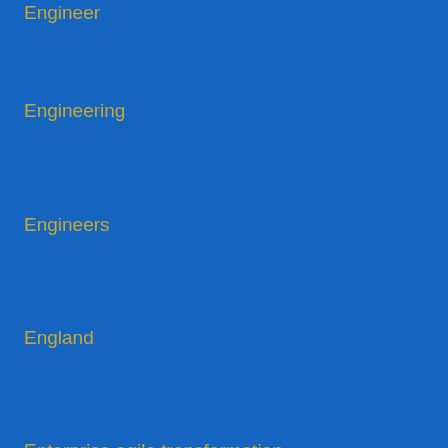Engineer
Engineering
Engineers
England
Enterprise agile transformation
Enterprise agility
Enterprise PMO
Enterprise PMO Consultant
Entertainment
Entertainment Company